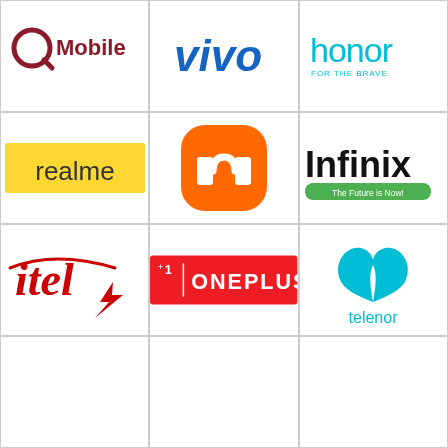[Figure (logo): QMobile logo - Q letter in dark red with 'Mobile' text]
[Figure (logo): Vivo logo - blue italic vivo text]
[Figure (logo): Honor logo - teal text with 'FOR THE BRAVE' tagline]
[Figure (logo): Realme logo - yellow banner with 'realme' text]
[Figure (logo): Xiaomi Mi logo - orange rounded square with white mi symbol]
[Figure (logo): Infinix logo - black text with green tagline 'The Future is Now!']
[Figure (logo): itel logo - red italic cursive with lightning bolt]
[Figure (logo): OnePlus logo - red rectangle with 1+ ONEPLUS text]
[Figure (logo): Telenor logo - cyan teardrop symbol with telenor text]
[Figure (logo): Empty cell bottom left]
[Figure (logo): Empty cell bottom center]
[Figure (logo): Empty cell bottom right]